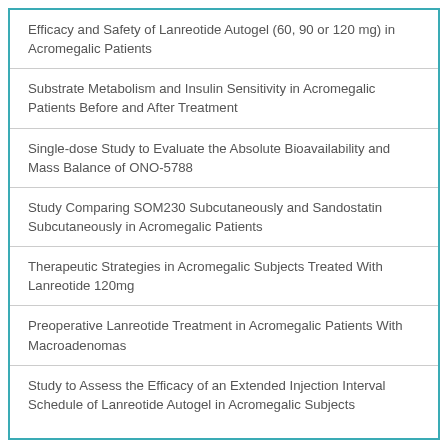Efficacy and Safety of Lanreotide Autogel (60, 90 or 120 mg) in Acromegalic Patients
Substrate Metabolism and Insulin Sensitivity in Acromegalic Patients Before and After Treatment
Single-dose Study to Evaluate the Absolute Bioavailability and Mass Balance of ONO-5788
Study Comparing SOM230 Subcutaneously and Sandostatin Subcutaneously in Acromegalic Patients
Therapeutic Strategies in Acromegalic Subjects Treated With Lanreotide 120mg
Preoperative Lanreotide Treatment in Acromegalic Patients With Macroadenomas
Study to Assess the Efficacy of an Extended Injection Interval Schedule of Lanreotide Autogel in Acromegalic Subjects